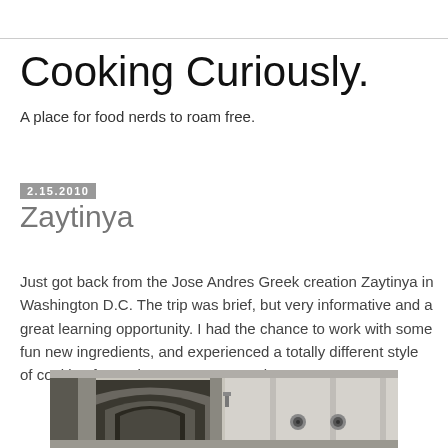Cooking Curiously.
A place for food nerds to roam free.
2.15.2010
Zaytinya
Just got back from the Jose Andres Greek creation Zaytinya in Washington D.C. The trip was brief, but very informative and a great learning opportunity. I had the chance to work with some fun new ingredients, and experienced a totally different style of cooking from what I'm accustomed to.
[Figure (photo): Photograph of an arched corridor or hallway with stone columns, resembling a classical or neoclassical building interior, shown in black and white or muted tones.]